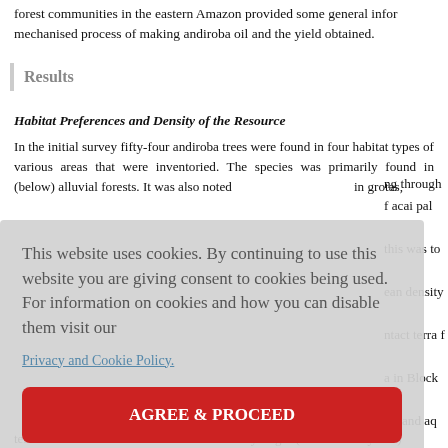forest communities in the eastern Amazon provided some general information on the mechanised process of making andiroba oil and the yield obtained.
Results
Habitat Preferences and Density of the Resource
In the initial survey fifty-four andiroba trees were found in four habitat types of various areas that were inventoried. The species was primarily found in (below) alluvial forests. It was also noted in grotas, passing through of acai palm, this was to an density intact terra firme a in Block est and aq plots was rra firme a es were fo
terra firme or alluvial forests that were in early stages (less than ten years)
This website uses cookies. By continuing to use this website you are giving consent to cookies being used. For information on cookies and how you can disable them visit our Privacy and Cookie Policy.
AGREE & PROCEED